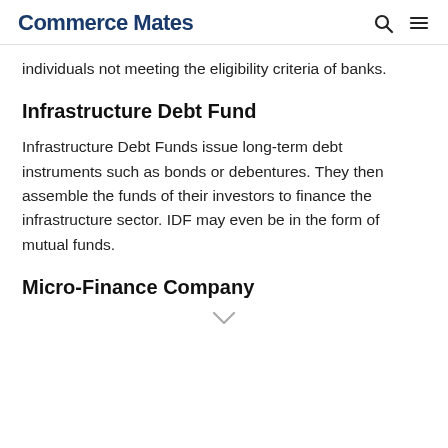Commerce Mates
individuals not meeting the eligibility criteria of banks.
Infrastructure Debt Fund
Infrastructure Debt Funds issue long-term debt instruments such as bonds or debentures. They then assemble the funds of their investors to finance the infrastructure sector. IDF may even be in the form of mutual funds.
Micro-Finance Company